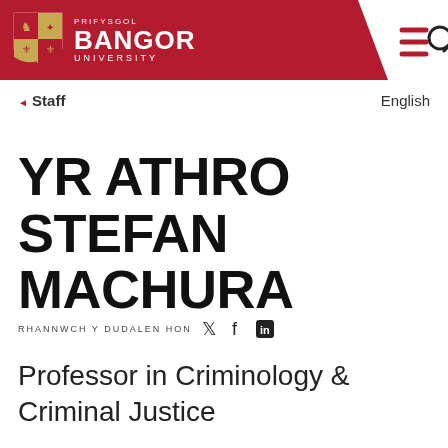PRIFYSGOL BANGOR UNIVERSITY
◄ Staff   English
YR ATHRO STEFAN MACHURA
RHANNWCH Y DUDALEN HON
Professor in Criminology & Criminal Justice